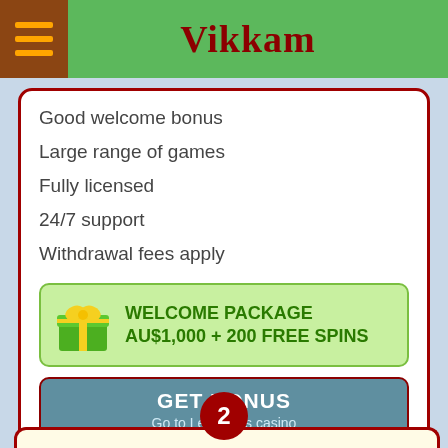Vikkam
Good welcome bonus
Large range of games
Fully licensed
24/7 support
Withdrawal fees apply
WELCOME PACKAGE AU$1,000 + 200 FREE SPINS
GET BONUS
Go to LeoVegas casino
LEOVEGAS REVIEW